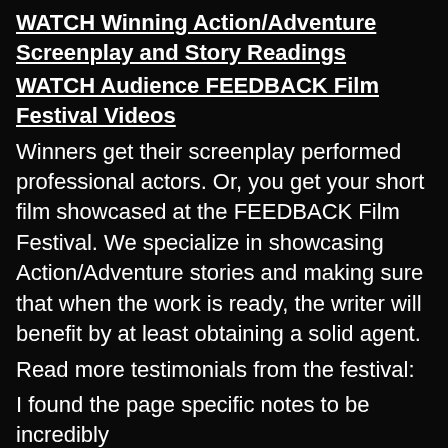WATCH Winning Action/Adventure Screenplay and Story Readings
WATCH Audience FEEDBACK Film Festival Videos
Winners get their screenplay performed professional actors. Or, you get your short film showcased at the FEEDBACK Film Festival. We specialize in showcasing Action/Adventure stories and making sure that when the work is ready, the writer will benefit by at least obtaining a solid agent.
Read more testimonials from the festival:
I found the page specific notes to be incredibly